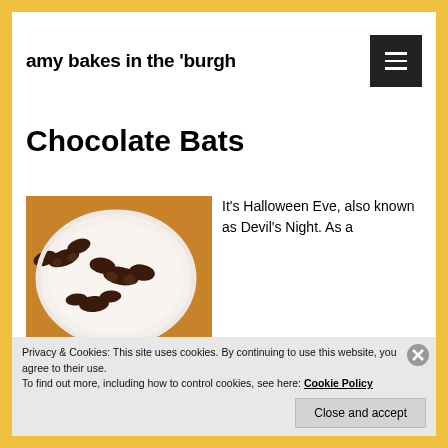amy bakes in the 'burgh
Chocolate Bats
[Figure (photo): Plate of chocolate bat-shaped cookies on a white plate with a wooden background]
It’s Halloween Eve, also known as Devil’s Night. As a
Privacy & Cookies: This site uses cookies. By continuing to use this website, you agree to their use.
To find out more, including how to control cookies, see here: Cookie Policy
Close and accept